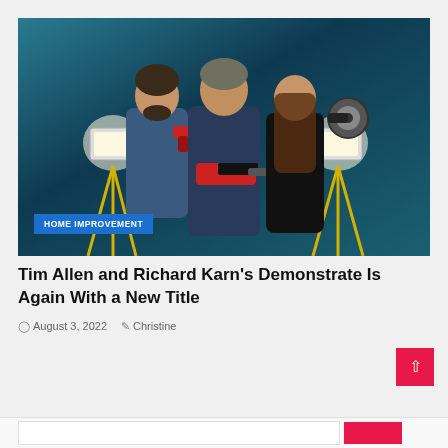[Figure (photo): Three people posing with power tools against a teal/dark blue background with studio lights on tripods. Left person holds a red drill, center person holds a red chainsaw, right person holds a circular saw. A 'HOME IMPROVEMENT' badge is overlaid in the bottom left corner of the image.]
Tim Allen and Richard Karn's Demonstrate Is Again With a New Title
August 3, 2022   Christine
[Figure (other): Bottom bar with white search/input area and red button]